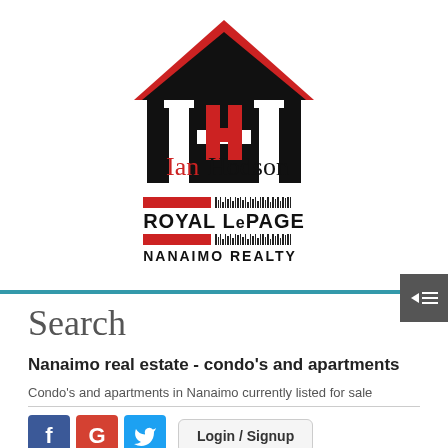[Figure (logo): Ian Hodson Royal LePage Nanaimo Realty logo — house silhouette with red trim and stylized H, with Ian Hodson text in red/black, Royal LePage Nanaimo Realty branding below]
Search
Nanaimo real estate - condo's and apartments
Condo's and apartments in Nanaimo currently listed for sale